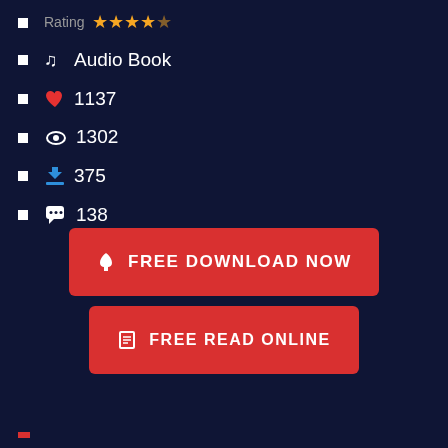Rating ★★★★½
♫ Audio Book
❤ 1137
👁 1302
⬇ 375
💬 138
[Figure (other): Red button: FREE DOWNLOAD NOW with download icon]
[Figure (other): Red button: FREE READ ONLINE with book icon]